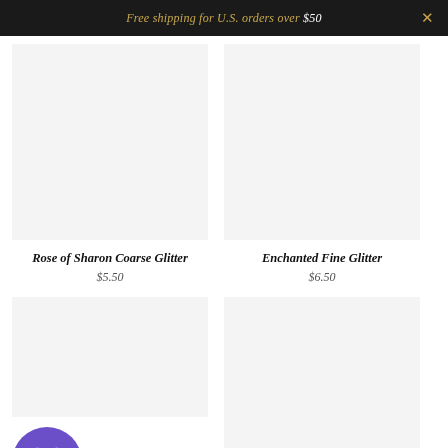Free shipping for U.S. orders over $50
[Figure (photo): Product image placeholder — Rose of Sharon Coarse Glitter, light gray background]
Rose of Sharon Coarse Glitter
$5.50
[Figure (photo): Product image placeholder — Enchanted Fine Glitter, light gray background]
Enchanted Fine Glitter
$6.50
[Figure (illustration): Purple circular gift icon button]
[Figure (photo): Product image placeholder bottom right, light gray background]
Wishlist